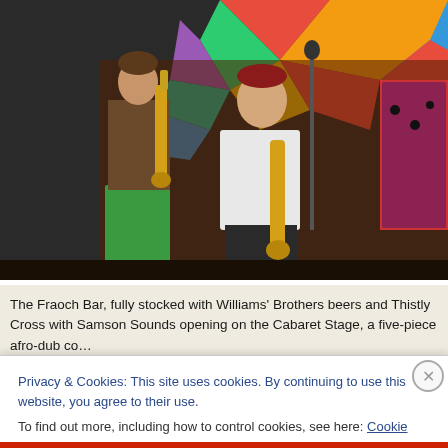[Figure (photo): Musicians performing on stage: person playing saxophone on left in green pants, central performer singing into microphone and playing saxophone wearing white t-shirt, drummer visible in background on right, colorful geometric mural on wall behind them.]
The Fraoch Bar, fully stocked with Williams' Brothers beers and Thistly Cross with Samson Sounds opening on the Cabaret Stage, a five-piece afro-dub co… of iva…
Privacy & Cookies: This site uses cookies. By continuing to use this website, you agree to their use.
To find out more, including how to control cookies, see here: Cookie Policy
Close and accept